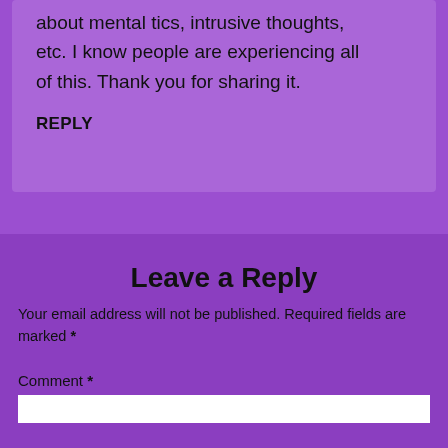about mental tics, intrusive thoughts, etc. I know people are experiencing all of this. Thank you for sharing it.
REPLY
Leave a Reply
Your email address will not be published. Required fields are marked *
Comment *